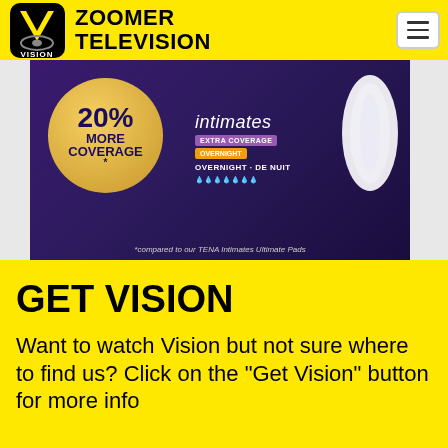ZOOMER TELEVISION
[Figure (photo): TENA Intimates Extra Coverage Overnight pad advertisement showing 20% more coverage claim with purple packaging, gold circle badge, and product image]
GET VISION
Want to watch Vision but not sure where to find us? Click on the “Get Vision” button for more info